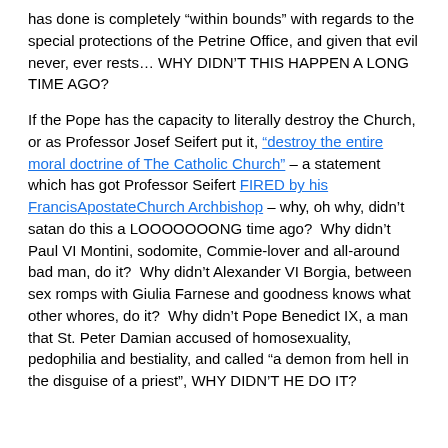has done is completely “within bounds” with regards to the special protections of the Petrine Office, and given that evil never, ever rests… WHY DIDN’T THIS HAPPEN A LONG TIME AGO?
If the Pope has the capacity to literally destroy the Church, or as Professor Josef Seifert put it, “destroy the entire moral doctrine of The Catholic Church” – a statement which has got Professor Seifert FIRED by his FrancisApostateChurch Archbishop – why, oh why, didn’t satan do this a LOOOOOOONG time ago?  Why didn’t Paul VI Montini, sodomite, Commie-lover and all-around bad man, do it?  Why didn’t Alexander VI Borgia, between sex romps with Giulia Farnese and goodness knows what other whores, do it?  Why didn’t Pope Benedict IX, a man that St. Peter Damian accused of homosexuality, pedophilia and bestiality, and called “a demon from hell in the disguise of a priest”, WHY DIDN’T HE DO IT?